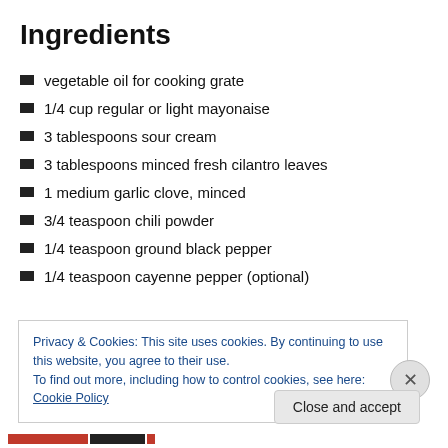Ingredients
vegetable oil for cooking grate
1/4 cup regular or light mayonaise
3 tablespoons sour cream
3 tablespoons minced fresh cilantro leaves
1 medium garlic clove, minced
3/4 teaspoon chili powder
1/4 teaspoon ground black pepper
1/4 teaspoon cayenne pepper (optional)
Privacy & Cookies: This site uses cookies. By continuing to use this website, you agree to their use.
To find out more, including how to control cookies, see here: Cookie Policy